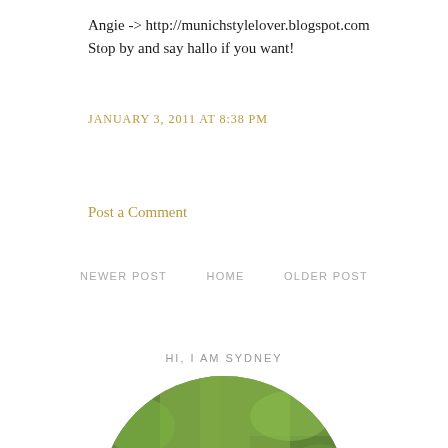Angie -> http://munichstylelover.blogspot.com
Stop by and say hallo if you want!
JANUARY 3, 2011 AT 8:38 PM
Post a Comment
NEWER POST    HOME    OLDER POST
HI, I AM SYDNEY
[Figure (photo): Circular cropped photo of a young woman with long brown hair wearing large round black sunglasses, outdoors with green trees in background]